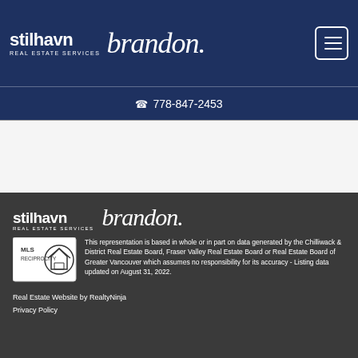[Figure (logo): Stilhavn Real Estate Services logo and brandon script logo in white on dark navy header]
📞 778-847-2453
[Figure (logo): Stilhavn Real Estate Services logo and brandon script logo in white on dark footer]
[Figure (logo): MLS Reciprocity badge]
This representation is based in whole or in part on data generated by the Chilliwack & District Real Estate Board, Fraser Valley Real Estate Board or Real Estate Board of Greater Vancouver which assumes no responsibility for its accuracy - Listing data updated on August 31, 2022.
Real Estate Website by RealtyNinja
Privacy Policy